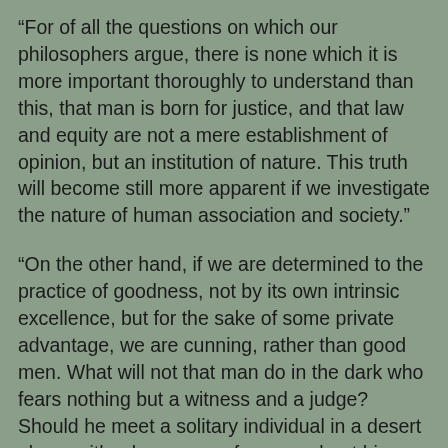“For of all the questions on which our philosophers argue, there is none which it is more important thoroughly to understand than this, that man is born for justice, and that law and equity are not a mere establishment of opinion, but an institution of nature. This truth will become still more apparent if we investigate the nature of human association and society.”
“On the other hand, if we are determined to the practice of goodness, not by its own intrinsic excellence, but for the sake of some private advantage, we are cunning, rather than good men. What will not that man do in the dark who fears nothing but a witness and a judge? Should he meet a solitary individual in a desert place, with a large sum of money about him, and altogether unable to defend himself from being robbed, how would he behave? In such a case the man whom we have represented to be honest from principle, and the nature of the thing itself, would converse with the stranger, assist him, and show him the way. But as to the man who does nothing for the sake of another, and measures every thing by the advantage it brings to himself, it is obvious, I suppose, how such a one would act; and should